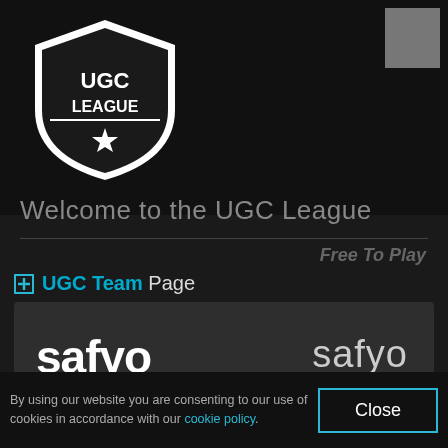[Figure (logo): UGC League shield logo with star]
Welcome to the UGC League
Free To Play
UGC Team Page
safyo
Joined Dec 1, 2015
Team Status: Invited
By using our website you are consenting to our use of cookies in accordance with our cookie policy.